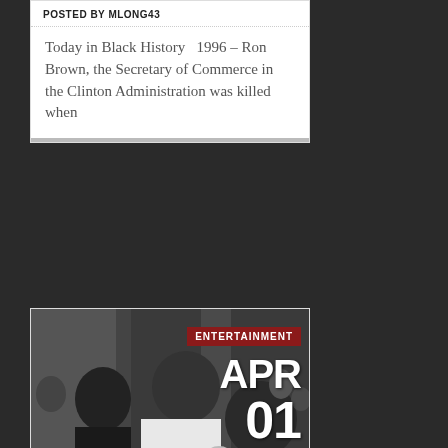POSTED BY MLONG43
Today in Black History  1996 – Ron Brown, the Secretary of Commerce in the Clinton Administration was killed when
[Figure (photo): Black and white photograph of Marvin Gaye with two other people, overlaid with 'ENTERTAINMENT' badge in red and 'APR 01' date text in white]
MARVIN GAYE SHOT AND...
POSTED BY MLONG43
1984 – Motown superstar Marvin Gaye was shot and killed by his father Marvin Gay Sr. just